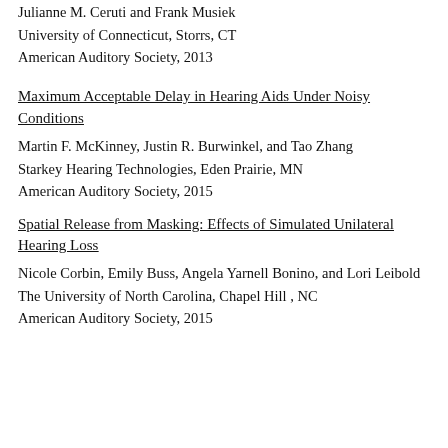Julianne M. Ceruti and Frank Musiek
University of Connecticut, Storrs, CT
American Auditory Society, 2013
Maximum Acceptable Delay in Hearing Aids Under Noisy Conditions
Martin F. McKinney, Justin R. Burwinkel, and Tao Zhang
Starkey Hearing Technologies, Eden Prairie, MN
American Auditory Society, 2015
Spatial Release from Masking: Effects of Simulated Unilateral Hearing Loss
Nicole Corbin, Emily Buss, Angela Yarnell Bonino, and Lori Leibold
The University of North Carolina, Chapel Hill , NC
American Auditory Society, 2015